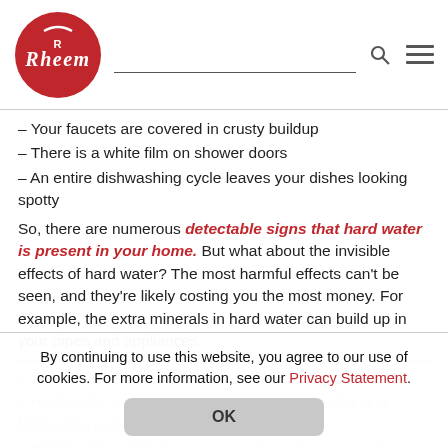[Figure (logo): Rheem red circular logo with white Rheem text]
– Your faucets are covered in crusty buildup
– There is a white film on shower doors
– An entire dishwashing cycle leaves your dishes looking spotty
So, there are numerous detectable signs that hard water is present in your home. But what about the invisible effects of hard water? The most harmful effects can't be seen, and they're likely costing you the most money. For example, the extra minerals in hard water can build up in your pipes and appliances.
– Scale buildup can restrict water flow in your pipes
– Hard water creates buildup in your water heater and forces it to use more energy
– Water-using appliances become less efficient and break down more quickly
– After showering, your skin feels dry and your hair feels dull and flat
By continuing to use this website, you agree to our use of cookies. For more information, see our Privacy Statement.